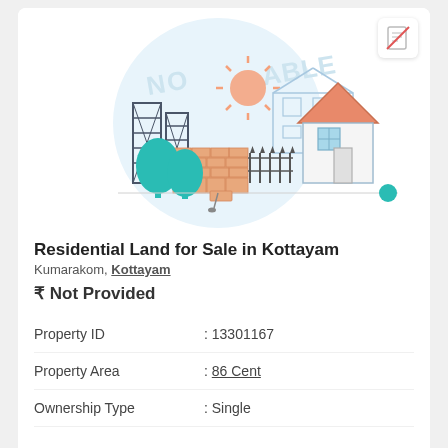[Figure (illustration): Real estate listing placeholder illustration showing construction site with brick wall, scaffolding towers, trees, house with triangular roof, fence, sun, and 'NOT AVAILABLE' watermark text in the background circle. A no-document icon appears in top-right corner.]
Residential Land for Sale in Kottayam
Kumarakom, Kottayam
₹ Not Provided
| Property ID | : 13301167 |
| Property Area | : 86 Cent |
| Ownership Type | : Single |